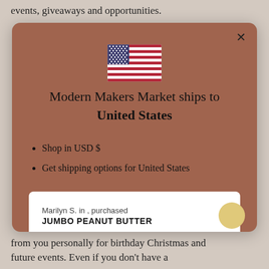events, giveaways and opportunities.
[Figure (screenshot): Modal dialog on a website for Modern Makers Market showing a US flag emoji, text 'Modern Makers Market ships to United States', bullet points 'Shop in USD $' and 'Get shipping options for United States', a 'Shop now' button, and a purchase notification bar at the bottom showing 'Marilyn S. in , purchased JUMBO PEANUT BUTTER' with a close X and a circular avatar.]
from you personally for birthday Christmas and future events. Even if you don't have a